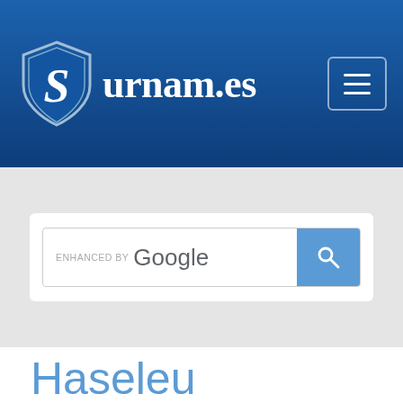Surnam.es
[Figure (screenshot): Google enhanced search bar with blue search button]
Haseleu Surname